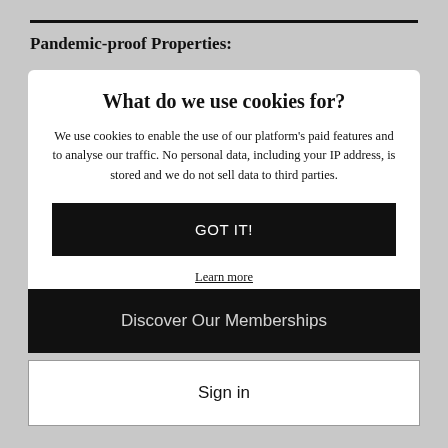Pandemic-proof Properties:
What do we use cookies for?
We use cookies to enable the use of our platform's paid features and to analyse our traffic. No personal data, including your IP address, is stored and we do not sell data to third parties.
GOT IT!
Learn more
Discover Our Memberships
Sign in